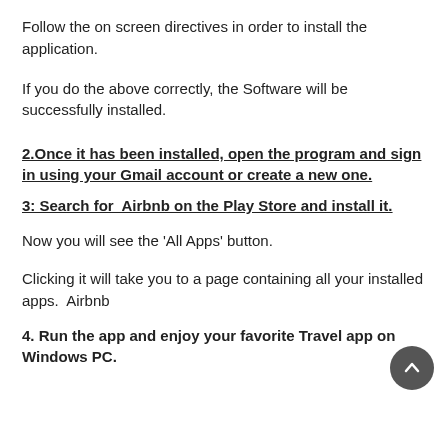Follow the on screen directives in order to install the application.
If you do the above correctly, the Software will be successfully installed.
2.Once it has been installed, open the program and sign in using your Gmail account or create a new one.
3: Search for Airbnb on the Play Store and install it.
Now you will see the "All Apps" button.
Clicking it will take you to a page containing all your installed apps. Airbnb
4. Run the app and enjoy your favorite Travel app on Windows PC.